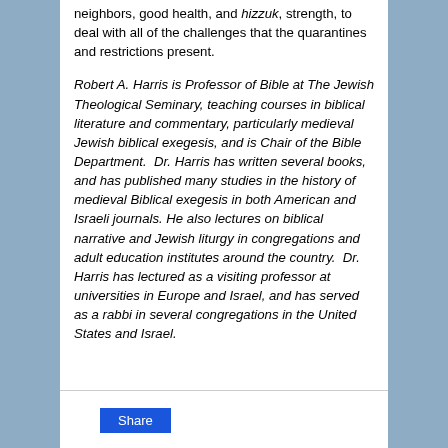neighbors, good health, and hizzuk, strength, to deal with all of the challenges that the quarantines and restrictions present.
Robert A. Harris is Professor of Bible at The Jewish Theological Seminary, teaching courses in biblical literature and commentary, particularly medieval Jewish biblical exegesis, and is Chair of the Bible Department. Dr. Harris has written several books, and has published many studies in the history of medieval Biblical exegesis in both American and Israeli journals. He also lectures on biblical narrative and Jewish liturgy in congregations and adult education institutes around the country. Dr. Harris has lectured as a visiting professor at universities in Europe and Israel, and has served as a rabbi in several congregations in the United States and Israel.